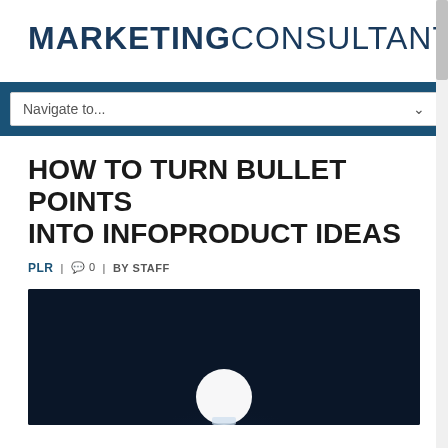MARKETINGCONSULTANTPLR
[Figure (screenshot): Navigation dropdown bar with 'Navigate to...' placeholder text and chevron, on a dark blue background]
HOW TO TURN BULLET POINTS INTO INFOPRODUCT IDEAS
PLR | 0 | BY STAFF
[Figure (photo): Dark navy blue background with a bright white glowing lightbulb or orb light at the bottom center, suggesting an idea concept]